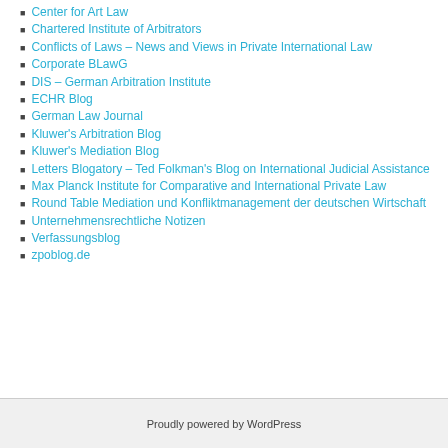Center for Art Law
Chartered Institute of Arbitrators
Conflicts of Laws – News and Views in Private International Law
Corporate BLawG
DIS – German Arbitration Institute
ECHR Blog
German Law Journal
Kluwer's Arbitration Blog
Kluwer's Mediation Blog
Letters Blogatory – Ted Folkman's Blog on International Judicial Assistance
Max Planck Institute for Comparative and International Private Law
Round Table Mediation und Konfliktmanagement der deutschen Wirtschaft
Unternehmensrechtliche Notizen
Verfassungsblog
zpoblog.de
Proudly powered by WordPress